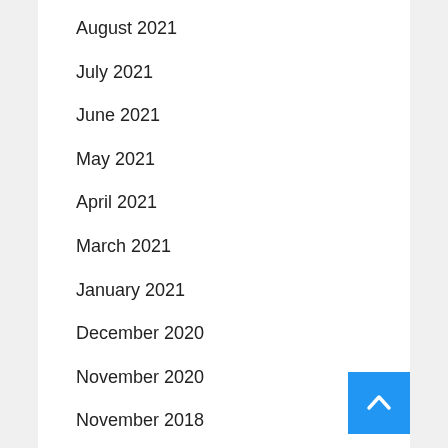August 2021
July 2021
June 2021
May 2021
April 2021
March 2021
January 2021
December 2020
November 2020
November 2018